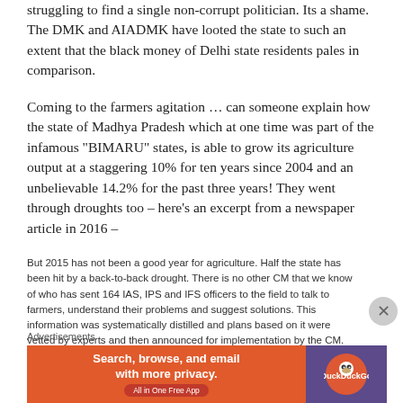struggling to find a single non-corrupt politician. Its a shame. The DMK and AIADMK have looted the state to such an extent that the black money of Delhi state residents pales in comparison.
Coming to the farmers agitation … can someone explain how the state of Madhya Pradesh which at one time was part of the infamous "BIMARU" states, is able to grow its agriculture output at a staggering 10% for ten years since 2004 and an unbelievable 14.2% for the past three years! They went through droughts too – here's an excerpt from a newspaper article in 2016 –
But 2015 has not been a good year for agriculture. Half the state has been hit by a back-to-back drought. There is no other CM that we know of who has sent 164 IAS, IPS and IFS officers to the field to talk to farmers, understand their problems and suggest solutions. This information was systematically distilled and plans based on it were vetted by experts and then announced for implementation by the CM. This
Advertisements
[Figure (infographic): DuckDuckGo advertisement banner: orange background with text 'Search, browse, and email with more privacy. All in One Free App' and DuckDuckGo logo on dark purple background]